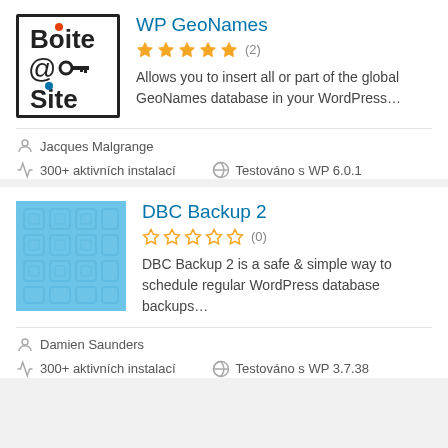[Figure (logo): BoiteSite logo with @ and key symbol]
WP GeoNames
★★★★★ (2)
Allows you to insert all or part of the global GeoNames database in your WordPress…
Jacques Malgrange
300+ aktivních instalací
Testováno s WP 6.0.1
[Figure (illustration): DBC Backup 2 plugin logo - light blue square grid pattern]
DBC Backup 2
☆☆☆☆☆ (0)
DBC Backup 2 is a safe & simple way to schedule regular WordPress database backups…
Damien Saunders
300+ aktivních instalací
Testováno s WP 3.7.38